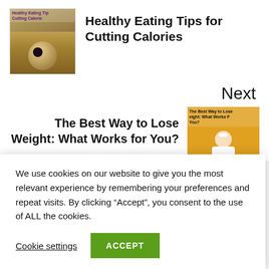[Figure (photo): Thumbnail image of food/dessert with text 'Healthy Eating Tips for Cutting Calories' overlaid]
Healthy Eating Tips for Cutting Calories
Next
The Best Way to Lose Weight: What Works for You?
[Figure (photo): Thumbnail image of a person measuring waist on yellow background with text 'The Best Way to Lose Weight: What Works for You?']
We use cookies on our website to give you the most relevant experience by remembering your preferences and repeat visits. By clicking “Accept”, you consent to the use of ALL the cookies.
Cookie settings
ACCEPT
ished.